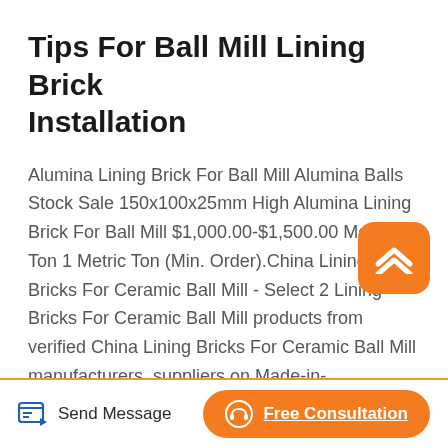Tips For Ball Mill Lining Brick Installation
Alumina Lining Brick For Ball Mill Alumina Balls Stock Sale 150x100x25mm High Alumina Lining Brick For Ball Mill $1,000.00-$1,500.00 Metric Ton 1 Metric Ton (Min. Order).China Lining Bricks For Ceramic Ball Mill - Select 2 Lining Bricks For Ceramic Ball Mill products from verified China Lining Bricks For Ceramic Ball Mill manufacturers, suppliers on Made-in-China.com.Sep 20, 2014 Grinding Media, Magnesite Bricks, Ball Mill Liner, High Alumina Grinding Media, High Alumina Bricks, Ceramic